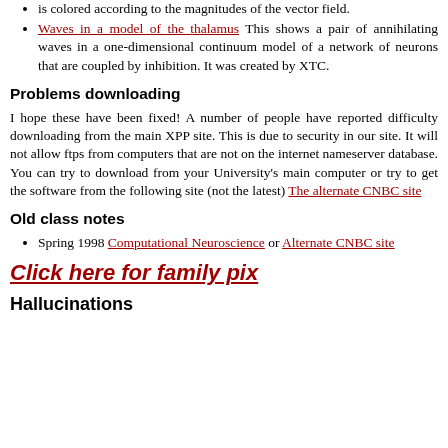is colored according to the magnitudes of the vector field.
Waves in a model of the thalamus This shows a pair of annihilating waves in a one-dimensional continuum model of a network of neurons that are coupled by inhibition. It was created by XTC.
Problems downloading
I hope these have been fixed! A number of people have reported difficulty downloading from the main XPP site. This is due to security in our site. It will not allow ftps from computers that are not on the internet nameserver database. You can try to download from your University's main computer or try to get the software from the following site (not the latest) The alternate CNBC site
Old class notes
Spring 1998 Computational Neuroscience or Alternate CNBC site
Click here for family pix
Hallucinations